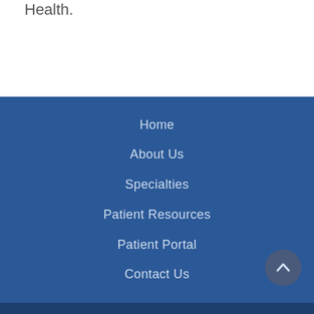Health.
Home
About Us
Specialties
Patient Resources
Patient Portal
Contact Us